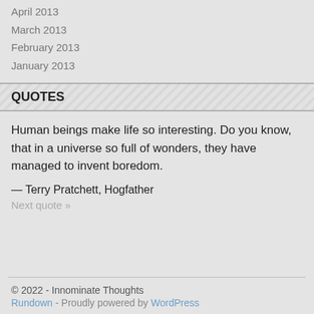April 2013
March 2013
February 2013
January 2013
QUOTES
Human beings make life so interesting. Do you know, that in a universe so full of wonders, they have managed to invent boredom.
— Terry Pratchett, Hogfather
Next quote »
© 2022 - Innominate Thoughts
Rundown - Proudly powered by WordPress